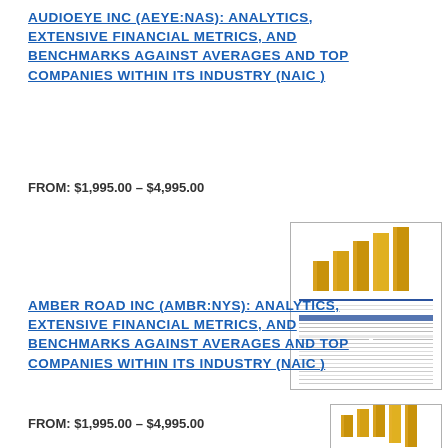AUDIOEYE INC (AEYE:NAS): ANALYTICS, EXTENSIVE FINANCIAL METRICS, AND BENCHMARKS AGAINST AVERAGES AND TOP COMPANIES WITHIN ITS INDUSTRY (NAIC)
FROM: $1,995.00 – $4,995.00
[Figure (photo): Thumbnail image of a financial report document with a gold bar chart icon at the top]
AMBER ROAD INC (AMBR:NYS): ANALYTICS, EXTENSIVE FINANCIAL METRICS, AND BENCHMARKS AGAINST AVERAGES AND TOP COMPANIES WITHIN ITS INDUSTRY (NAIC)
FROM: $1,995.00 – $4,995.00
[Figure (photo): Partial thumbnail image of a financial report document with a gold bar chart icon at the top]